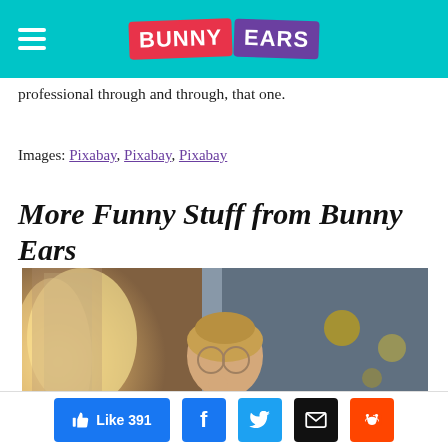Bunny Ears
professional through and through, that one.
Images: Pixabay, Pixabay, Pixabay
More Funny Stuff from Bunny Ears
[Figure (photo): Woman with glasses and blonde hair pulled up, wearing glasses, holding shopping bags, looking thoughtful in a busy indoor setting]